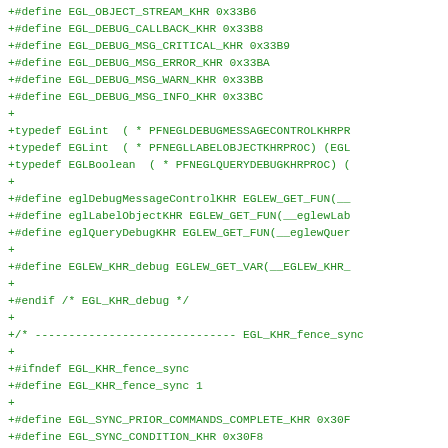+#define EGL_OBJECT_STREAM_KHR 0x33B6
+#define EGL_DEBUG_CALLBACK_KHR 0x33B8
+#define EGL_DEBUG_MSG_CRITICAL_KHR 0x33B9
+#define EGL_DEBUG_MSG_ERROR_KHR 0x33BA
+#define EGL_DEBUG_MSG_WARN_KHR 0x33BB
+#define EGL_DEBUG_MSG_INFO_KHR 0x33BC
+
+typedef EGLint  ( * PFNEGLDEBUGMESSAGECONTROLKHRPR
+typedef EGLint  ( * PFNEGLLABELOBJECTKHRPROC) (EGL
+typedef EGLBoolean  ( * PFNEGLQUERYDEBUGKHRPROC) (
+
+#define eglDebugMessageControlKHR EGLEW_GET_FUN(__
+#define eglLabelObjectKHR EGLEW_GET_FUN(__eglewLab
+#define eglQueryDebugKHR EGLEW_GET_FUN(__eglewQuer
+
+#define EGLEW_KHR_debug EGLEW_GET_VAR(__EGLEW_KHR_
+
+#endif /* EGL_KHR_debug */
+
+/* ------------------------------ EGL_KHR_fence_sync
+
+#ifndef EGL_KHR_fence_sync
+#define EGL_KHR_fence_sync 1
+
+#define EGL_SYNC_PRIOR_COMMANDS_COMPLETE_KHR 0x30F
+#define EGL_SYNC_CONDITION_KHR 0x30F8
+#define EGL_SYNC_FENCE_KHR 0x30F9
+
+#define EGLEW_KHR_fence_sync EGLEW_GET_VAR(__EGLEW
+
+#endif /* EGL_KHR_fence_sync */